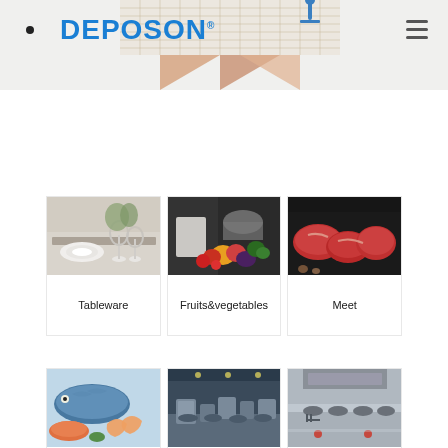[Figure (illustration): Technical/engineering illustration with grid pattern and figure in blue, salmon/tan diagonal triangles at bottom]
[Figure (logo): DEPOSON logo in blue with registered trademark symbol]
[Figure (other): Hamburger menu icon (three horizontal lines)]
[Figure (photo): Tableware category: table setting with white plates and wine glasses]
Tableware
[Figure (photo): Fruits & vegetables category: chef with colorful vegetables including peppers, tomatoes, eggplant]
Fruits&vegetables
[Figure (photo): Meet (Meat) category: raw red meat cuts on dark background]
Meet
[Figure (photo): Seafood category: fish and shrimp on ice]
[Figure (photo): Kitchen/buffet area with equipment]
[Figure (photo): Commercial kitchen interior with stainless steel equipment]